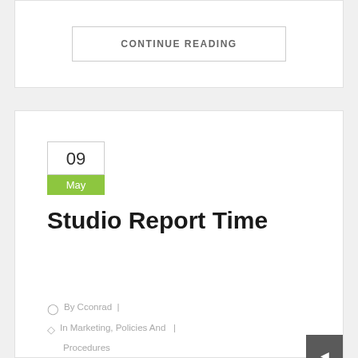CONTINUE READING
09
May
Studio Report Time
By Cconrad  |
In Marketing, Policies And  |  Procedures
Comments
[Figure (photo): Broken image placeholder labeled teacher_at_computer]